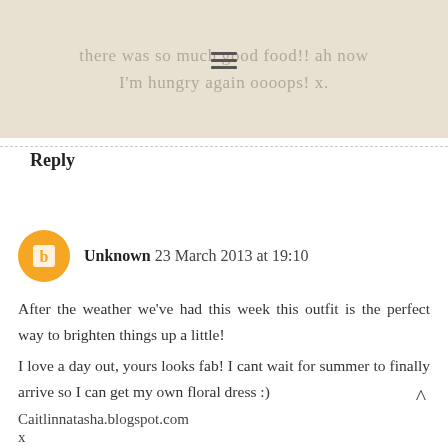there was so much good food!! ah now I'm hungry again oooops! x.
Reply
Unknown 23 March 2013 at 19:10
After the weather we've had this week this outfit is the perfect way to brighten things up a little!
I love a day out, yours looks fab! I cant wait for summer to finally arrive so I can get my own floral dress :)
Caitlinnatasha.blogspot.com
x